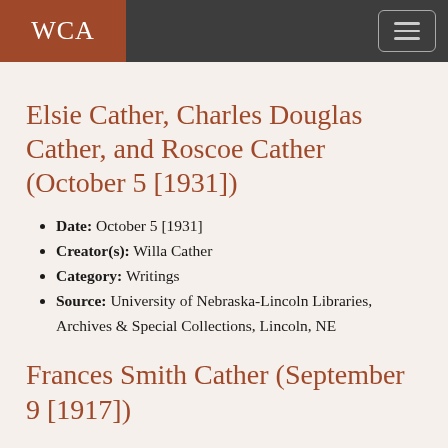WCA
Elsie Cather, Charles Douglas Cather, and Roscoe Cather (October 5 [1931])
Date: October 5 [1931]
Creator(s): Willa Cather
Category: Writings
Source: University of Nebraska-Lincoln Libraries, Archives & Special Collections, Lincoln, NE
Frances Smith Cather (September 9 [1917])